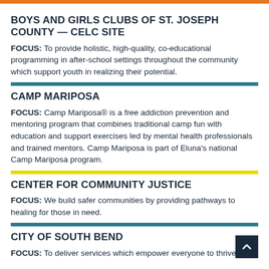BOYS AND GIRLS CLUBS OF ST. JOSEPH COUNTY — CELC SITE
FOCUS: To provide holistic, high-quality, co-educational programming in after-school settings throughout the community which support youth in realizing their potential.
CAMP MARIPOSA
FOCUS: Camp Mariposa® is a free addiction prevention and mentoring program that combines traditional camp fun with education and support exercises led by mental health professionals and trained mentors. Camp Mariposa is part of Eluna's national Camp Mariposa program.
CENTER FOR COMMUNITY JUSTICE
FOCUS: We build safer communities by providing pathways to healing for those in need.
CITY OF SOUTH BEND
FOCUS: To deliver services which empower everyone to thrive